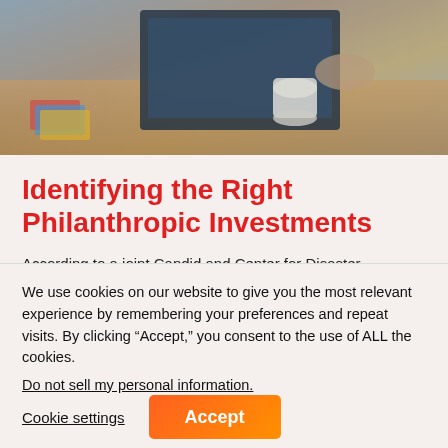[Figure (photo): Photograph of a person working at a desk with a laptop, coffee cup, and notebooks visible]
Identifying the Right Philanthropic Investments
According to a joint Candid and Center for Disaster Philanthropy 2020 study, between 7 and 34 percent of all nonprofits were at risk of closing because of the
We use cookies on our website to give you the most relevant experience by remembering your preferences and repeat visits. By clicking “Accept,” you consent to the use of ALL the cookies.
Do not sell my personal information.
Cookie settings
Accept